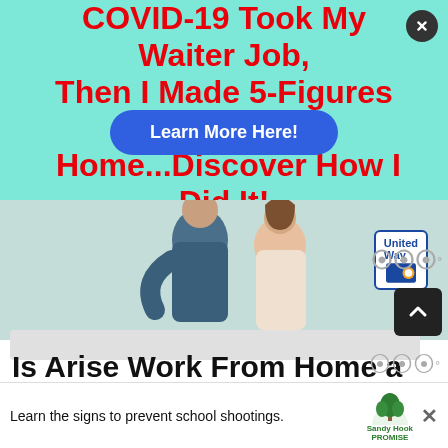[Figure (infographic): Advertisement banner with teal/mint background. Bold red text reads 'COVID-19 Took My Waiter Job, Then I Made 5-Figures From Home...Discover How I Did It!' with a blue oval button overlay saying 'Learn More Here!' and a close (X) button in top-right corner.]
[Figure (photo): Photo section showing two people embracing, partially visible. A 'United Way' logo badge appears in the bottom-right of the photo.]
Is Arise Work From Home a Scam?
[Figure (infographic): Advertisement banner at bottom: 'Learn the signs to prevent school shootings.' with Sandy Hook Promise logo showing a green tree.]